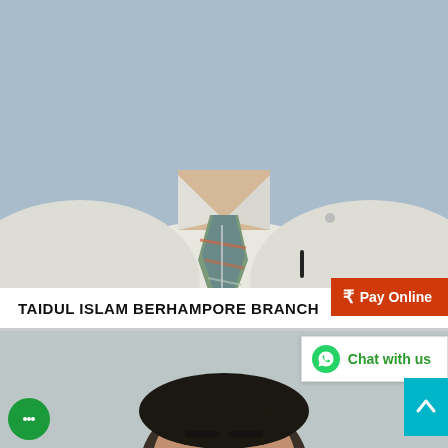[Figure (photo): Upper torso and head (cropped) of a person wearing a white dress shirt with a striped tie (green, blue, red stripes), blue background, passport-style photo]
TAIDUL ISLAM BERHAMPORE BRANCH
[Figure (infographic): Red button with rupee symbol reading 'Pay Online']
[Figure (photo): Head (partially cropped) of a second person with dark hair, on a grey/blue background]
[Figure (infographic): WhatsApp chat button reading 'Chat with us' in green]
[Figure (infographic): Teal scroll-to-top button with upward chevron]
[Figure (infographic): Green circular chat bubble button in bottom-left corner]